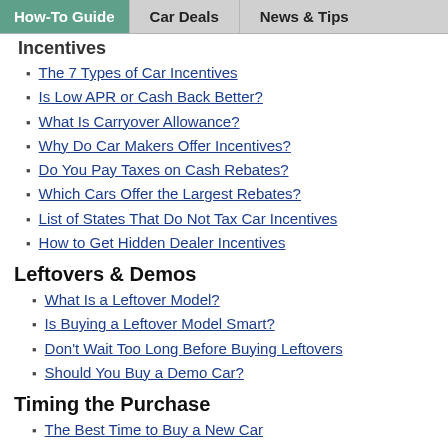How-To Guide | Car Deals | News & Tips
Incentives
The 7 Types of Car Incentives
Is Low APR or Cash Back Better?
What Is Carryover Allowance?
Why Do Car Makers Offer Incentives?
Do You Pay Taxes on Cash Rebates?
Which Cars Offer the Largest Rebates?
List of States That Do Not Tax Car Incentives
How to Get Hidden Dealer Incentives
Leftovers & Demos
What Is a Leftover Model?
Is Buying a Leftover Model Smart?
Don't Wait Too Long Before Buying Leftovers
Should You Buy a Demo Car?
Timing the Purchase
The Best Time to Buy a New Car
Clues That Tell You Which Cars Are in High Demand